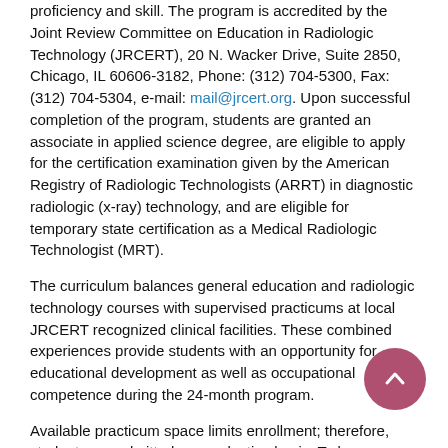proficiency and skill. The program is accredited by the Joint Review Committee on Education in Radiologic Technology (JRCERT), 20 N. Wacker Drive, Suite 2850, Chicago, IL 60606-3182, Phone: (312) 704-5300, Fax: (312) 704-5304, e-mail: mail@jrcert.org. Upon successful completion of the program, students are granted an associate in applied science degree, are eligible to apply for the certification examination given by the American Registry of Radiologic Technologists (ARRT) in diagnostic radiologic (x-ray) technology, and are eligible for temporary state certification as a Medical Radiologic Technologist (MRT).
The curriculum balances general education and radiologic technology courses with supervised practicums at local JRCERT recognized clinical facilities. These combined experiences provide students with an opportunity for educational development as well as occupational competence during the 24-month program.
Available practicum space limits enrollment; therefore, students are admitted on a selective basis. To be considered for admission to the program, a prospective student must:
Be a high school graduate or equivalent.
Achieve a satisfactory score on the department specified pre-admission test.